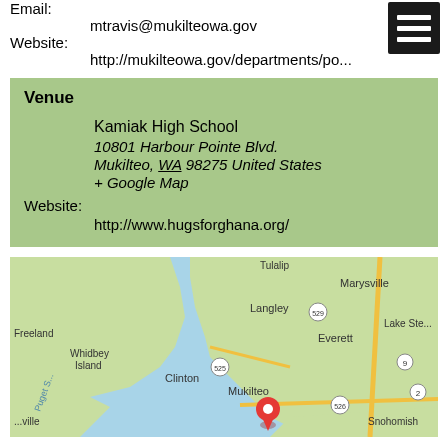Email:
mtravis@mukilteowa.gov
Website:
http://mukilteowa.gov/departments/po...
[Figure (other): Hamburger menu icon (three white lines on black background)]
Venue
Kamiak High School
10801 Harbour Pointe Blvd.
Mukilteo, WA 98275 United States
+ Google Map
Website:
http://www.hugsforghana.org/
[Figure (map): Google Map showing Mukilteo area with a red location pin, surrounding areas include Langley, Whidbey Island, Clinton, Everett, Marysville, Lake Stevens, Snohomish, and Puget Sound]